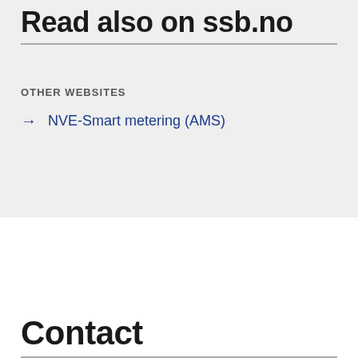Read also on ssb.no
OTHER WEBSITES
→  NVE-Smart metering (AMS)
Contact